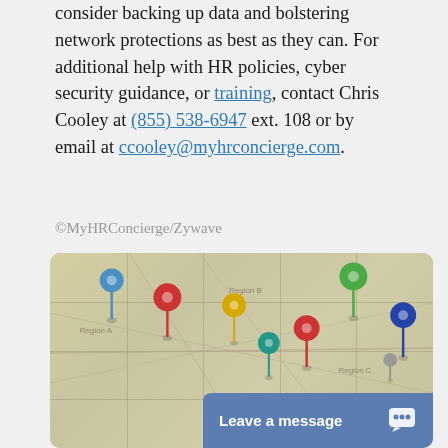consider backing up data and bolstering network protections as best as they can. For additional help with HR policies, cyber security guidance, or training, contact Chris Cooley at (855) 538-6947 ext. 108 or by email at ccooley@myhrconcierge.com.
©MyHRConcierge/Zywave
[Figure (photo): A map with multiple colorful push pins (blue, red, yellow, green, teal, dark blue) stuck into it, showing various locations. A chat widget with 'Leave a message' text appears at the bottom right corner.]